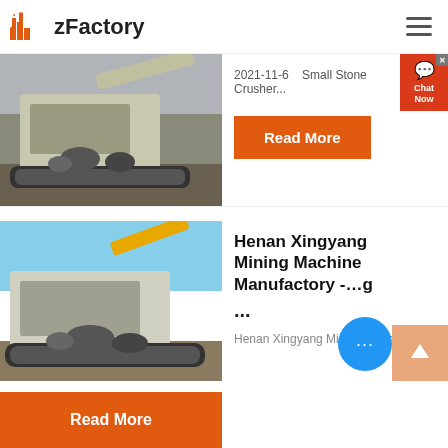zFactory
[Figure (photo): Industrial stone crusher machine on tracks outdoors]
2021-11-6   Small Stone Crusher...
Read More
[Figure (photo): Mining machinery - mobile crusher equipment on construction site]
Henan Xingyang Mining Machine Manufactory - ...g ...
Henan Xingyang Mining Machin...
Read More